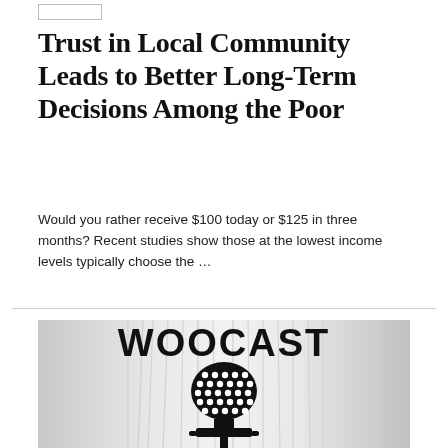Trust in Local Community Leads to Better Long-Term Decisions Among the Poor
Would you rather receive $100 today or $125 in three months? Recent studies show those at the lowest income levels typically choose the …
[Figure (illustration): WOOCAST logo image showing the word WOOCAST in large bold text above a vintage-style microphone illustration on a light grey gradient background with vertical lines]